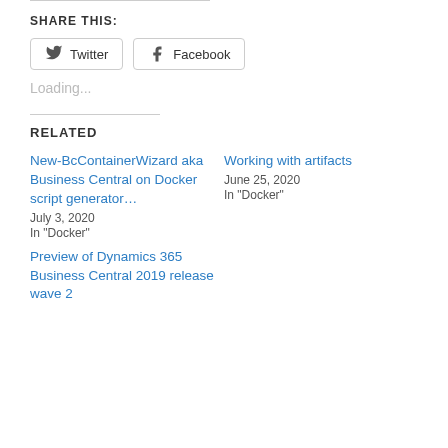SHARE THIS:
Twitter  Facebook
Loading...
RELATED
New-BcContainerWizard aka Business Central on Docker script generator…
July 3, 2020
In "Docker"
Working with artifacts
June 25, 2020
In "Docker"
Preview of Dynamics 365 Business Central 2019 release wave 2
July 31, 2019